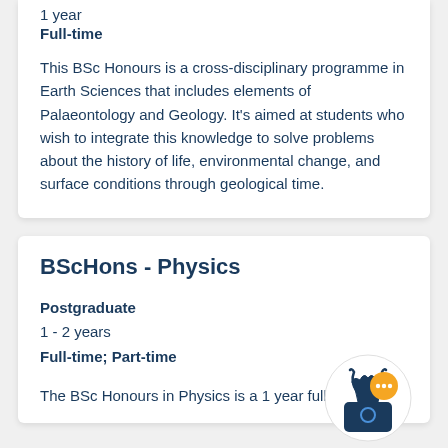1 year
Full-time
This BSc Honours is a cross-disciplinary programme in Earth Sciences that includes elements of Palaeontology and Geology. It's aimed at students who wish to integrate this knowledge to solve problems about the history of life, environmental change, and surface conditions through geological time.
BScHons - Physics
Postgraduate
1 - 2 years
Full-time; Part-time
The BSc Honours in Physics is a 1 year full-time or